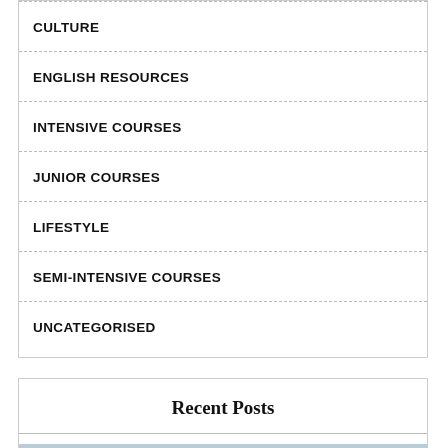CULTURE
ENGLISH RESOURCES
INTENSIVE COURSES
JUNIOR COURSES
LIFESTYLE
SEMI-INTENSIVE COURSES
UNCATEGORISED
Recent Posts
[Figure (photo): Christmas scene at Rockefeller Center with large illuminated angel sculptures and decorated Christmas tree, city buildings in background. A teal scroll-to-top button with an upward arrow overlays the bottom-right corner.]